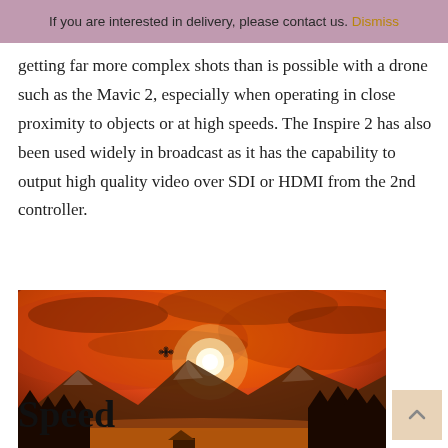If you are interested in delivery, please contact us. Dismiss
getting far more complex shots than is possible with a drone such as the Mavic 2, especially when operating in close proximity to objects or at high speeds. The Inspire 2 has also been used widely in broadcast as it has the capability to output high quality video over SDI or HDMI from the 2nd controller.
[Figure (photo): Drone flying at sunset over snow-covered mountain landscape with orange sky and dark treeline silhouette.]
Speed